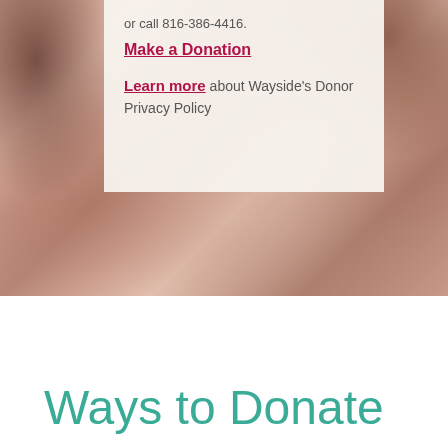[Figure (photo): Close-up photograph of skin (hand/neck area) with reddish-brown hair visible at top right and dark shadow at top left. Warm skin tones dominate the background.]
or call 816-386-4416.
Make a Donation
Learn more about Wayside's Donor Privacy Policy
Ways to Donate